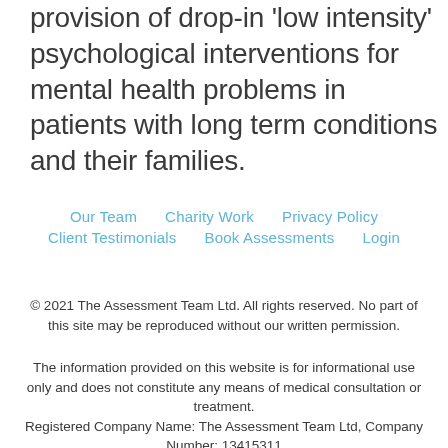provision of drop-in 'low intensity' psychological interventions for mental health problems in patients with long term conditions and their families.
Our Team
Charity Work
Privacy Policy
Client Testimonials
Book Assessments
Login
© 2021 The Assessment Team Ltd. All rights reserved. No part of this site may be reproduced without our written permission.
The information provided on this website is for informational use only and does not constitute any means of medical consultation or treatment. Registered Company Name: The Assessment Team Ltd, Company Number: 13415311